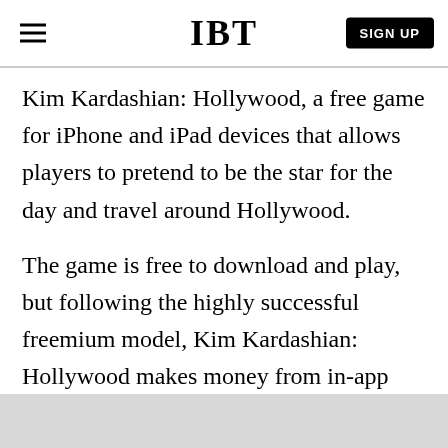IBT
Kim Kardashian: Hollywood, a free game for iPhone and iPad devices that allows players to pretend to be the star for the day and travel around Hollywood.
The game is free to download and play, but following the highly successful freemium model, Kim Kardashian: Hollywood makes money from in-app purchases with some individual items costings hundreds of dollars.